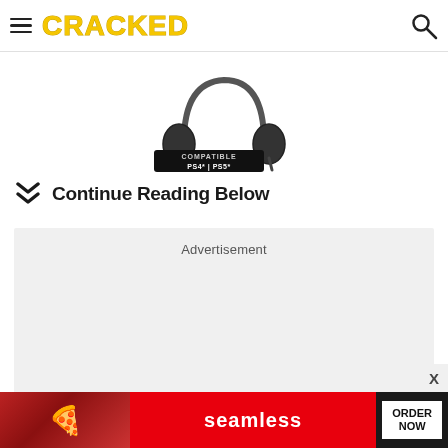CRACKED
[Figure (photo): Partial product image showing a gaming headset or peripheral compatible with PS4 and PS5, with 'COMPATIBLE PS4* | PS5*' badge visible]
Continue Reading Below
[Figure (other): Advertisement placeholder box with text 'Advertisement']
[Figure (other): Bottom banner advertisement for Seamless food delivery with pizza image and 'ORDER NOW' call to action button]